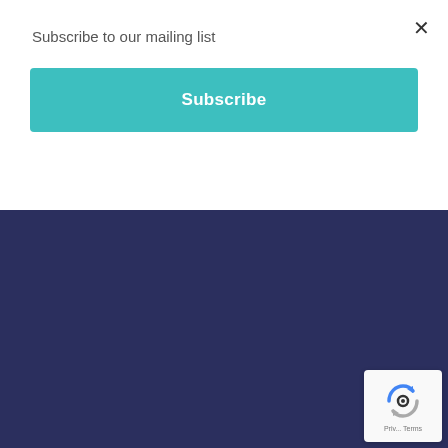Subscribe to our mailing list
Subscribe
principles of capitalism to generate income and profit, then sharing those profits within the business and community.
The business donates large amounts to charity and, in 2014, acquired an oxygen farm which is 164 acres of woodland in Scotland. Last year, they committed £300k to rewilding the woodland, digging new ponds and planting 12,000 trees to help improve biodiversity.
Customers already demonstrating environmentally conscious marketing activi...
Reducing carbon footprint is seen as a continuous